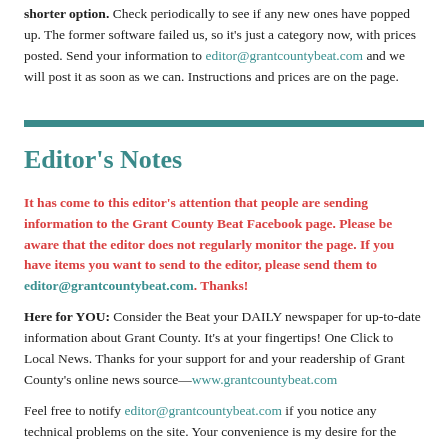shorter option. Check periodically to see if any new ones have popped up. The former software failed us, so it's just a category now, with prices posted. Send your information to editor@grantcountybeat.com and we will post it as soon as we can. Instructions and prices are on the page.
Editor's Notes
It has come to this editor's attention that people are sending information to the Grant County Beat Facebook page. Please be aware that the editor does not regularly monitor the page. If you have items you want to send to the editor, please send them to editor@grantcountybeat.com. Thanks!
Here for YOU: Consider the Beat your DAILY newspaper for up-to-date information about Grant County. It's at your fingertips! One Click to Local News. Thanks for your support for and your readership of Grant County's online news source—www.grantcountybeat.com
Feel free to notify editor@grantcountybeat.com if you notice any technical problems on the site. Your convenience is my desire for the Beat. The Beat totally appreciates its readers and subscribers!
Compliance: Because you are an esteemed member of The Grant County Beat readership, be assured that we at the Beat continue to do